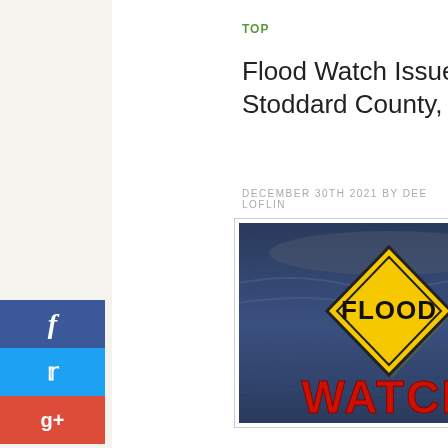TOP
Flood Watch Issued for Stoddard County, MO
DECEMBER 30TH 2021 BY DEE LOFLIN
[Figure (illustration): Flood Watch warning sign graphic: a yellow diamond caution sign with 'FLOOD' in black bold letters, set against a blue water/flood background, with 'WATCH' in large bold red letters below the sign.]